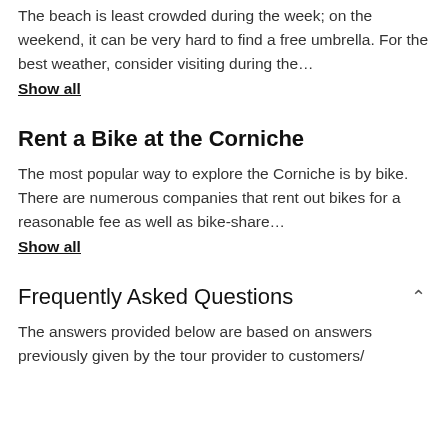The beach is least crowded during the week; on the weekend, it can be very hard to find a free umbrella. For the best weather, consider visiting during the...
Show all
Rent a Bike at the Corniche
The most popular way to explore the Corniche is by bike. There are numerous companies that rent out bikes for a reasonable fee as well as bike-share...
Show all
Frequently Asked Questions
The answers provided below are based on answers previously given by the tour provider to customers/